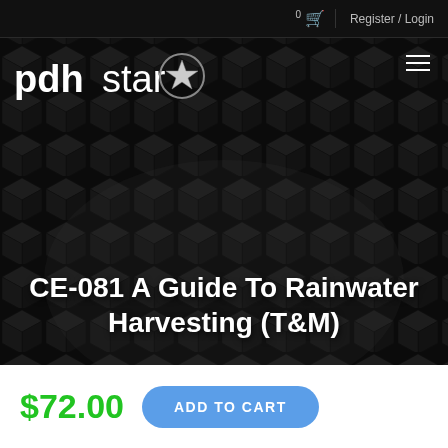0  Register / Login
[Figure (screenshot): PDHstar logo with circular star emblem on dark cube-textured background]
CE-081 A Guide To Rainwater Harvesting (T&M)
$72.00
ADD TO CART